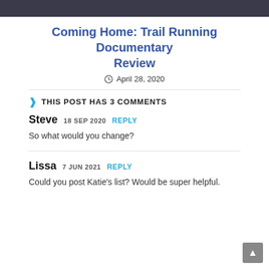[Figure (photo): Dark landscape/forest image at the top of the page, partially cropped]
Coming Home: Trail Running Documentary Review
April 28, 2020
THIS POST HAS 3 COMMENTS
Steve 18 SEP 2020 REPLY
So what would you change?
Lissa 7 JUN 2021 REPLY
Could you post Katie's list? Would be super helpful.